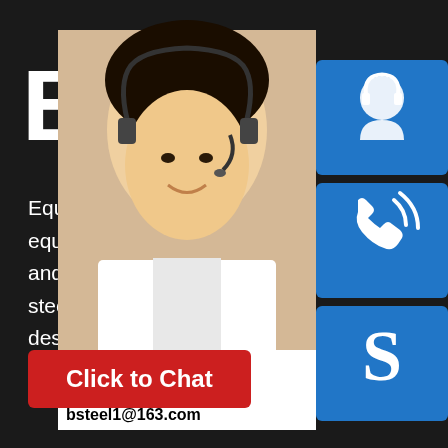[Figure (logo): BSSTEEL logo with red triangular icon in the middle of the text on dark background]
Equipped with advanced cutting, bending equipment, devoted to meet customer's and provide OEM, ODM services. With steel stock, we pursue to provide the design and processing solutions for customers.
[Figure (photo): Customer service representative (woman wearing headset) photo on right side with blue icons for chat, phone, and Skype, plus contact info showing bsteel1@163.com]
Click to Chat